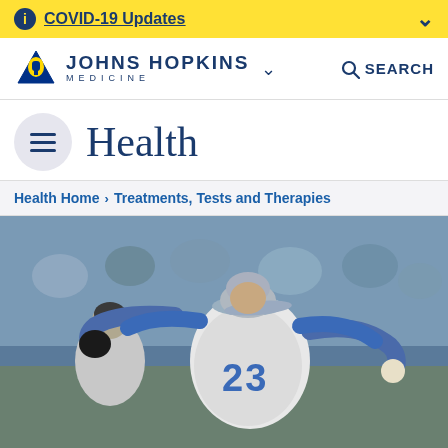COVID-19 Updates
[Figure (logo): Johns Hopkins Medicine logo with shield/dome icon]
Health
Health Home › Treatments, Tests and Therapies
[Figure (photo): Baseball pitcher wearing number 23 jersey with blue sleeves winding up to throw a pitch, crowd in background]